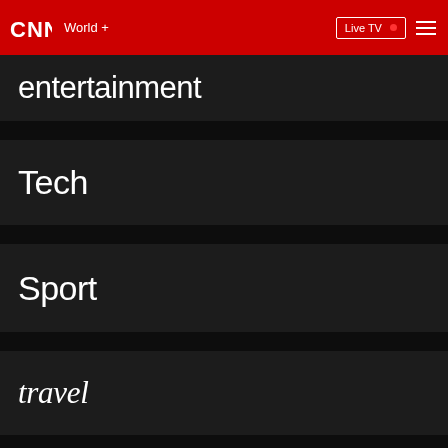CNN | World + | Live TV
entertainment
Tech
Sport
travel
style
health